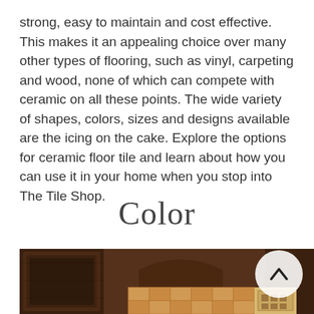strong, easy to maintain and cost effective. This makes it an appealing choice over many other types of flooring, such as vinyl, carpeting and wood, none of which can compete with ceramic on all these points. The wide variety of shapes, colors, sizes and designs available are the icing on the cake. Explore the options for ceramic floor tile and learn about how you can use it in your home when you stop into The Tile Shop.
Color
[Figure (photo): Interior kitchen photo showing dark wood cabinetry and warm-toned ceramic tile backsplash with decorative accent tiles. A circular scroll-up button overlay is visible in the upper right of the image.]